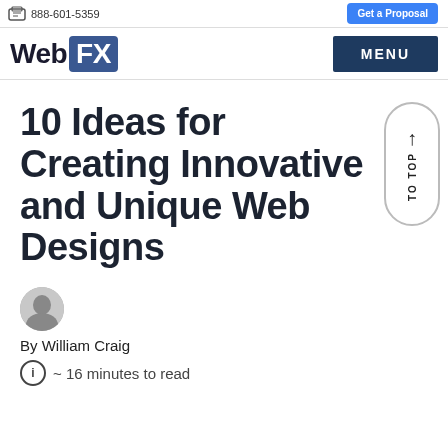888-601-5359 | Get a Proposal
WebFX | MENU
10 Ideas for Creating Innovative and Unique Web Designs
By William Craig
~ 16 minutes to read